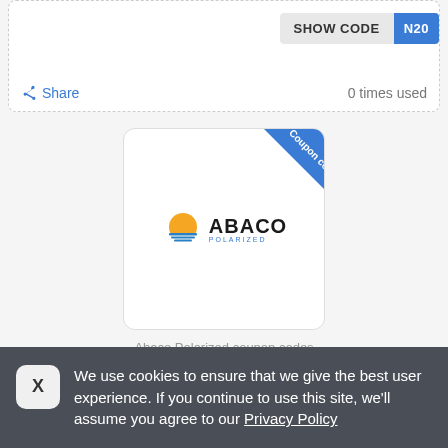[Figure (screenshot): SHOW CODE button with blue badge showing partial code 'N20']
Share
0 times used
[Figure (logo): Abaco Polarized coupon card with blue diagonal ribbon labeled 'Coupon code' and the Abaco Polarized logo (sun icon + ABACO text)]
Abaco Polarized coupon codes
Coupon code: Abaco Polarized - 18/08/2022
We use cookies to ensure that we give the best user experience. If you continue to use this site, we'll assume you agree to our Privacy Policy